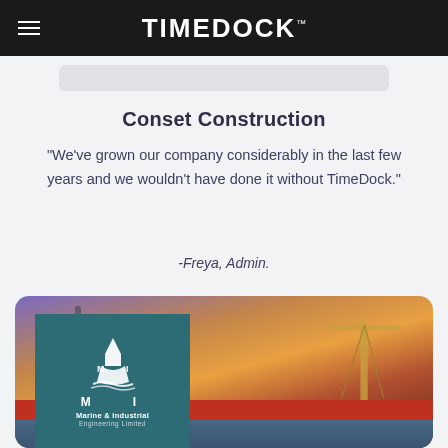TIMEDOCK
Conset Construction
“We’ve grown our company considerably in the last few years and we wouldn’t have done it without TimeDock.”
-Freya, Admin.
[Figure (photo): Photo of a harbour/dock at sunset with cranes and vessels. Overlaid with the Marine & Industrial Engineering Limited company logo on a teal background.]